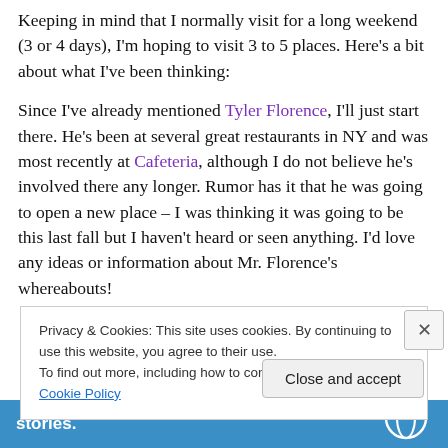Keeping in mind that I normally visit for a long weekend (3 or 4 days), I'm hoping to visit 3 to 5 places. Here's a bit about what I've been thinking:
Since I've already mentioned Tyler Florence, I'll just start there. He's been at several great restaurants in NY and was most recently at Cafeteria, although I do not believe he's involved there any longer. Rumor has it that he was going to open a new place – I was thinking it was going to be this last fall but I haven't heard or seen anything. I'd love any ideas or information about Mr. Florence's whereabouts!
Privacy & Cookies: This site uses cookies. By continuing to use this website, you agree to their use.
To find out more, including how to control cookies, see here: Cookie Policy
Close and accept
stories.